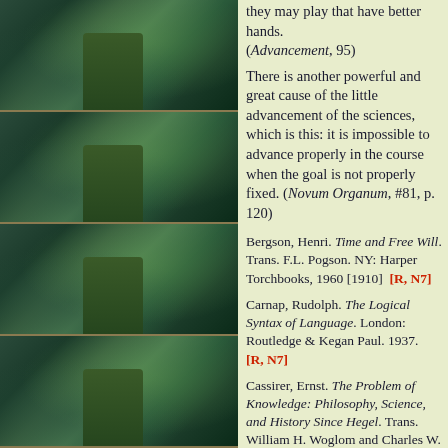they may play that have better hands. (Advancement, 95)
There is another powerful and great cause of the little advancement of the sciences, which is this: it is impossible to advance properly in the course when the goal is not properly fixed. (Novum Organum, #81, p. 120)
Bergson, Henri. Time and Free Will. Trans. F.L. Pogson. NY: Harper Torchbooks, 1960 [1910] [R, N7]
Carnap, Rudolph. The Logical Syntax of Language. London: Routledge & Kegan Paul. 1937. [R, N7]
Cassirer, Ernst. The Problem of Knowledge: Philosophy, Science, and History Since Hegel. Trans. William H. Woglom and Charles W. Hendel. New Haven: Yale U.P. 1950. [BD163/.C35] [R, N7]
Coomaraswamy, A.K. Figures of Speech and Figures of Thought. London. 1946. (S=Eliado